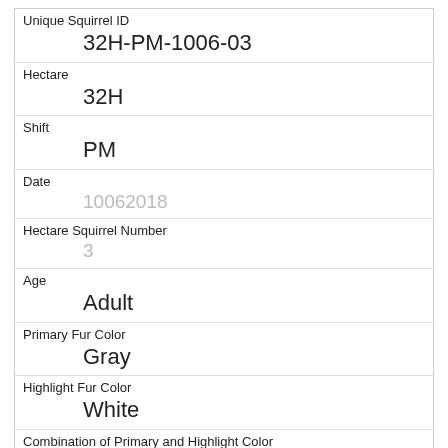| Unique Squirrel ID | 32H-PM-1006-03 |
| Hectare | 32H |
| Shift | PM |
| Date | 10062018 |
| Hectare Squirrel Number | 3 |
| Age | Adult |
| Primary Fur Color | Gray |
| Highlight Fur Color | White |
| Combination of Primary and Highlight Color | Gray+White |
| Color notes |  |